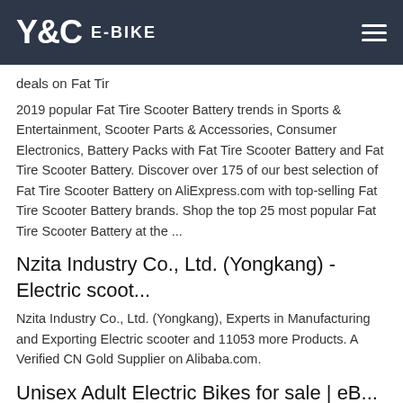Y&C E-BIKE
deals on Fat Tir
2019 popular Fat Tire Scooter Battery trends in Sports & Entertainment, Scooter Parts & Accessories, Consumer Electronics, Battery Packs with Fat Tire Scooter Battery and Fat Tire Scooter Battery. Discover over 175 of our best selection of Fat Tire Scooter Battery on AliExpress.com with top-selling Fat Tire Scooter Battery brands. Shop the top 25 most popular Fat Tire Scooter Battery at the ...
Nzita Industry Co., Ltd. (Yongkang) - Electric scoot...
Nzita Industry Co., Ltd. (Yongkang), Experts in Manufacturing and Exporting Electric scooter and 11053 more Products. A Verified CN Gold Supplier on Alibaba.com.
Unisex Adult Electric Bikes for sale | eB...